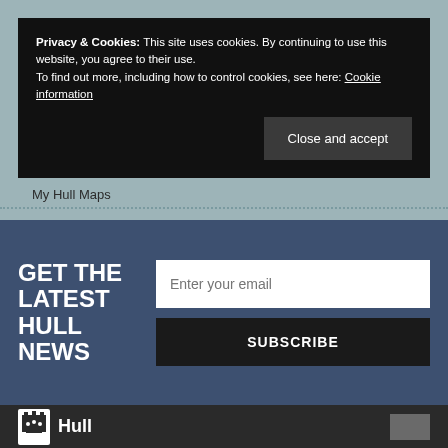Privacy & Cookies: This site uses cookies. By continuing to use this website, you agree to their use. To find out more, including how to control cookies, see here: Cookie information
Close and accept
My Hull Maps
GET THE LATEST HULL NEWS
Enter your email
SUBSCRIBE
[Figure (logo): Hull city council logo with crown icon and text 'Hull']